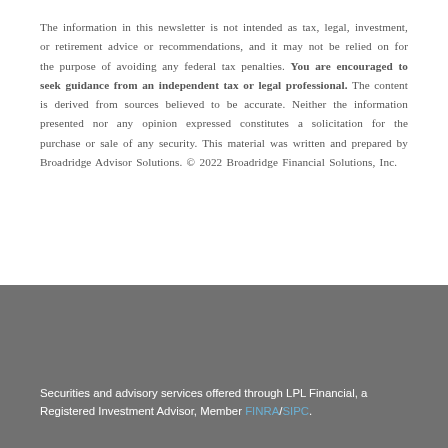The information in this newsletter is not intended as tax, legal, investment, or retirement advice or recommendations, and it may not be relied on for the purpose of avoiding any federal tax penalties. You are encouraged to seek guidance from an independent tax or legal professional. The content is derived from sources believed to be accurate. Neither the information presented nor any opinion expressed constitutes a solicitation for the purchase or sale of any security. This material was written and prepared by Broadridge Advisor Solutions. © 2022 Broadridge Financial Solutions, Inc.
Securities and advisory services offered through LPL Financial, a Registered Investment Advisor, Member FINRA/SIPC.